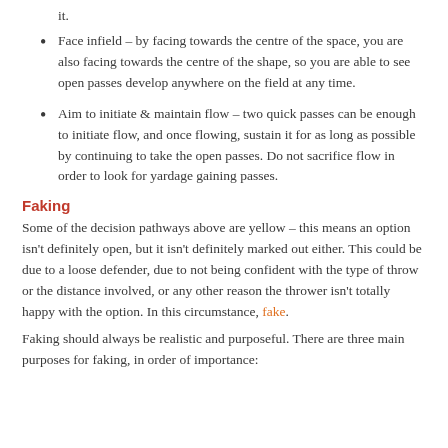it.
Face infield – by facing towards the centre of the space, you are also facing towards the centre of the shape, so you are able to see open passes develop anywhere on the field at any time.
Aim to initiate & maintain flow – two quick passes can be enough to initiate flow, and once flowing, sustain it for as long as possible by continuing to take the open passes. Do not sacrifice flow in order to look for yardage gaining passes.
Faking
Some of the decision pathways above are yellow – this means an option isn't definitely open, but it isn't definitely marked out either. This could be due to a loose defender, due to not being confident with the type of throw or the distance involved, or any other reason the thrower isn't totally happy with the option. In this circumstance, fake.
Faking should always be realistic and purposeful. There are three main purposes for faking, in order of importance: